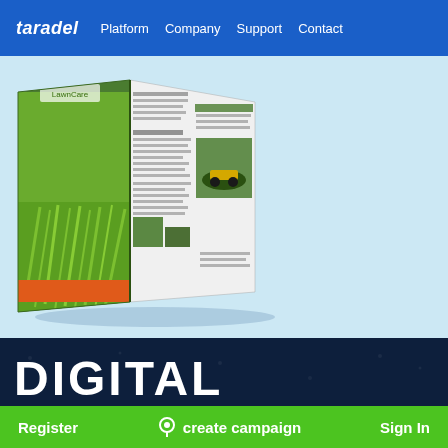taradel  Platform  Company  Support  Contact
[Figure (photo): A 3D rendered open brochure/pamphlet with a green grass design on the cover and green-themed interior panels with text and a small lawn mower image, displayed on a light blue background]
DIGITAL
Register   create campaign   Sign In